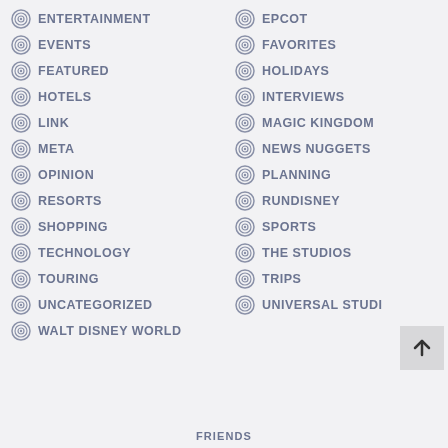ENTERTAINMENT
EVENTS
FEATURED
HOTELS
LINK
META
OPINION
RESORTS
SHOPPING
TECHNOLOGY
TOURING
UNCATEGORIZED
WALT DISNEY WORLD
EPCOT
FAVORITES
HOLIDAYS
INTERVIEWS
MAGIC KINGDOM
NEWS NUGGETS
PLANNING
RUNDISNEY
SPORTS
THE STUDIOS
TRIPS
UNIVERSAL STUDIOS
FRIENDS